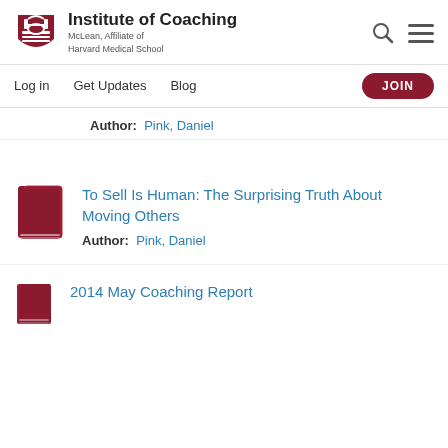[Figure (logo): Institute of Coaching logo with red shield/crest icon and text 'Institute of Coaching, McLean, Affiliate of Harvard Medical School']
Log in   Get Updates   Blog   JOIN
Author:  Pink, Daniel
To Sell Is Human: The Surprising Truth About Moving Others
Author:  Pink, Daniel
2014 May Coaching Report